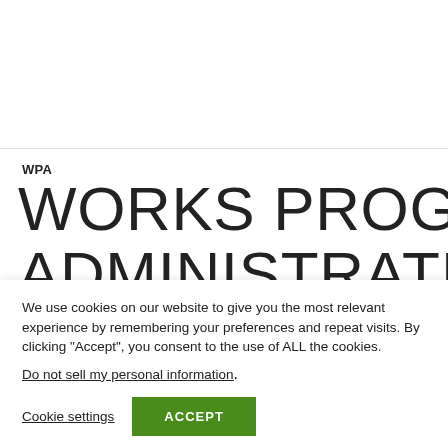WPA
WORKS PROGRESS
We use cookies on our website to give you the most relevant experience by remembering your preferences and repeat visits. By clicking “Accept”, you consent to the use of ALL the cookies.
Do not sell my personal information.
Cookie settings  ACCEPT